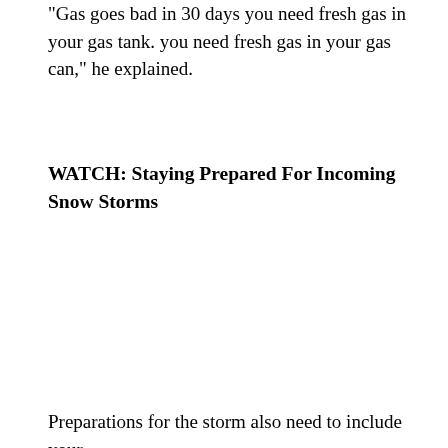"Gas goes bad in 30 days you need fresh gas in your gas tank. you need fresh gas in your gas can," he explained.
WATCH: Staying Prepared For Incoming Snow Storms
Preparations for the storm also need to include your